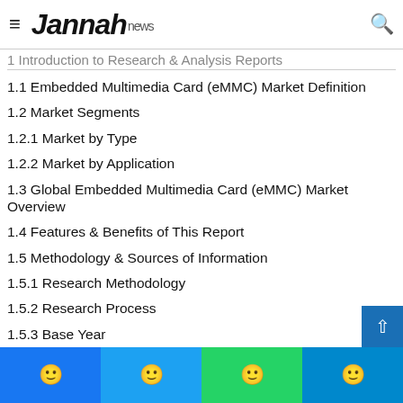Jannah news
1 Introduction to Research & Analysis Reports
1.1 Embedded Multimedia Card (eMMC) Market Definition
1.2 Market Segments
1.2.1 Market by Type
1.2.2 Market by Application
1.3 Global Embedded Multimedia Card (eMMC) Market Overview
1.4 Features & Benefits of This Report
1.5 Methodology & Sources of Information
1.5.1 Research Methodology
1.5.2 Research Process
1.5.3 Base Year
1.5.4 Report Assumptions & Caveats
2 Global Embedded Multimedia Card (eMMC) Overall Market Size